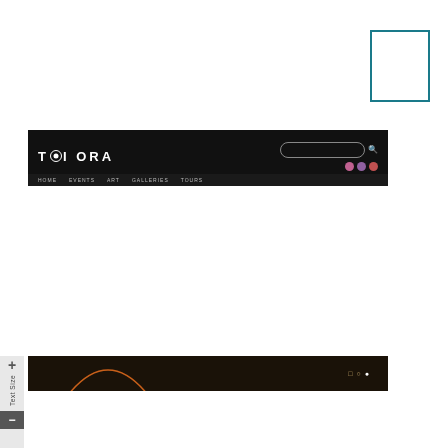[Figure (screenshot): Teal outlined rectangle box in upper right corner]
[Figure (screenshot): Toi Ora website navigation bar - black background with 'TOI ORA' logo, search bar, social media icons]
[Figure (screenshot): Bottom dark banner strip with orange arc on left and text on right]
[Figure (other): Text Size accessibility widget on left edge with plus and minus controls]